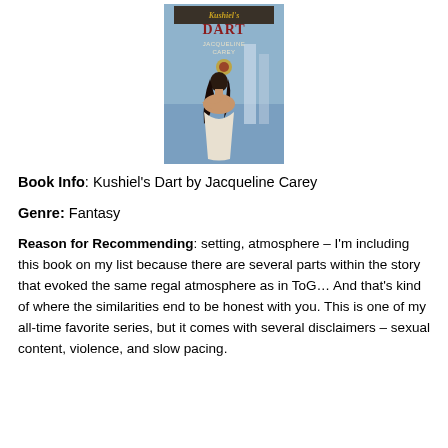[Figure (illustration): Book cover of Kushiel's Dart by Jacqueline Carey, showing a woman with dark hair viewed from behind against a blue background with classical columns.]
Book Info: Kushiel's Dart by Jacqueline Carey
Genre: Fantasy
Reason for Recommending: setting, atmosphere – I'm including this book on my list because there are several parts within the story that evoked the same regal atmosphere as in ToG… And that's kind of where the similarities end to be honest with you. This is one of my all-time favorite series, but it comes with several disclaimers – sexual content, violence, and slow pacing. Read it at your own risk.